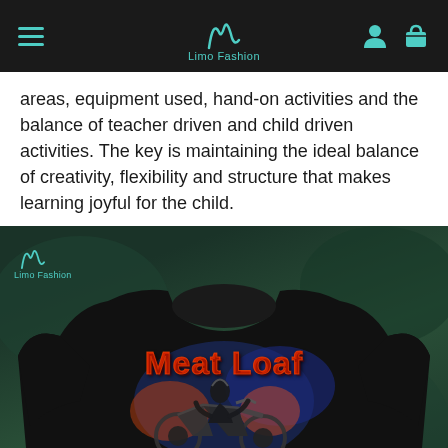Limo Fashion
areas, equipment used, hand-on activities and the balance of teacher driven and child driven activities. The key is maintaining the ideal balance of creativity, flexibility and structure that makes learning joyful for the child.
[Figure (photo): Black Meat Loaf 'Bad Attitude' graphic sweatshirt displayed on a green outdoor background. The sweatshirt features red and orange 'Meat Loaf' lettering at the top with a motorcycle rider graphic and 'BAD ATTITUDE' text at the bottom. A Limo Fashion watermark with logo is visible in the top left of the product image.]